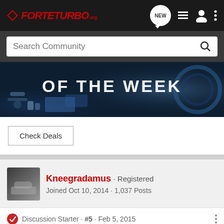ForteTurbo.org
Search Community
[Figure (photo): Hero banner image showing car engine/turbo parts with text 'OF THE WEEK' overlaid in white bold letters on a dark automotive background]
Check Deals
Kneegradamus · Registered
Joined Oct 10, 2014 · 1,037 Posts
Discussion Starter · #5 · Feb 5, 2015
@honhon
Exhausts is a straight pipe with one res...